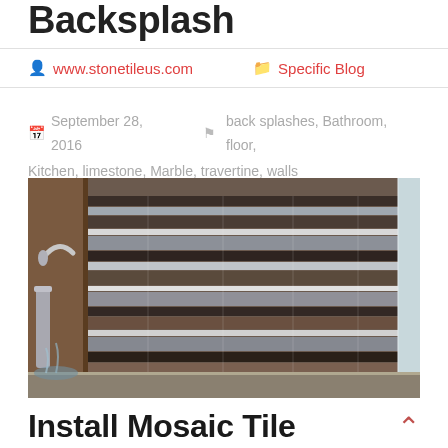Backsplash
www.stonetileus.com   Specific Blog
September 28, 2016   back splashes, Bathroom, floor, Kitchen, limestone, Marble, travertine, walls
[Figure (photo): Kitchen backsplash with mosaic tile in brown, silver, white and charcoal horizontal strips, with a chrome faucet visible on the left]
Install Mosaic Tile Backsplash